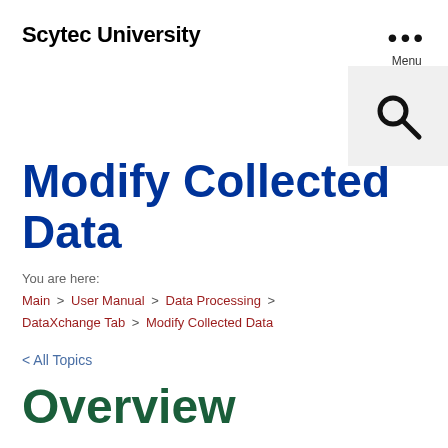Scytec University
Modify Collected Data
You are here:
Main › User Manual › Data Processing › DataXchange Tab › Modify Collected Data
< All Topics
Overview